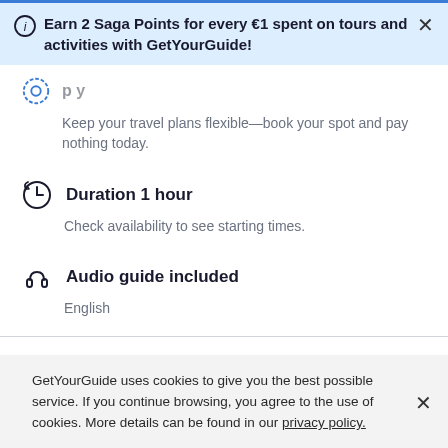Earn 2 Saga Points for every €1 spent on tours and activities with GetYourGuide!
Keep your travel plans flexible—book your spot and pay nothing today.
Duration 1 hour
Check availability to see starting times.
Audio guide included
English
GetYourGuide uses cookies to give you the best possible service. If you continue browsing, you agree to the use of cookies. More details can be found in our privacy policy.